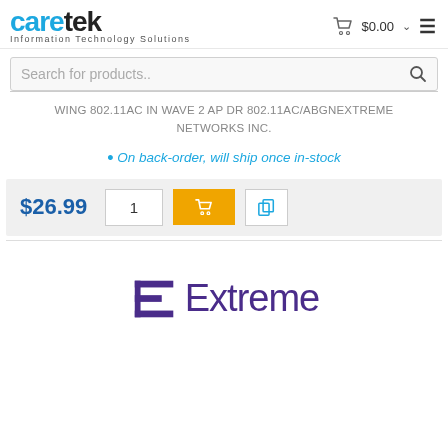[Figure (logo): Caretek Information Technology Solutions logo with blue 'care' and black 'tek' text]
$0.00
Search for products..
WING 802.11AC IN WAVE 2 AP DR 802.11AC/ABGNEXTREME NETWORKS INC.
• On back-order, will ship once in-stock
$26.99  1
[Figure (logo): Extreme Networks logo with purple icon and 'Extreme' text]